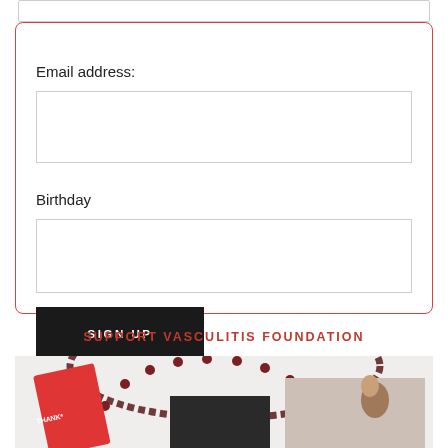Email address:
[Figure (other): Email address input field (empty text box)]
Birthday
[Figure (other): Birthday input field (empty text box)]
SIGN UP
SUPPORT VASCULITIS FOUNDATION
[Figure (photo): Photo showing a beaded rosary necklace arranged in an arc, a red thank-you card, a dark box/package, and a photograph of a man with a child on his shoulders.]